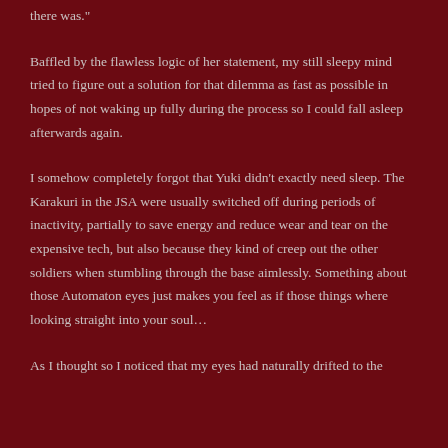there was."
Baffled by the flawless logic of her statement, my still sleepy mind tried to figure out a solution for that dilemma as fast as possible in hopes of not waking up fully during the process so I could fall asleep afterwards again.
I somehow completely forgot that Yuki didn’t exactly need sleep. The Karakuri in the JSA were usually switched off during periods of inactivity, partially to save energy and reduce wear and tear on the expensive tech, but also because they kind of creep out the other soldiers when stumbling through the base aimlessly. Something about those Automaton eyes just makes you feel as if those things where looking straight into your soul…
As I thought so I noticed that my eyes had naturally drifted to the